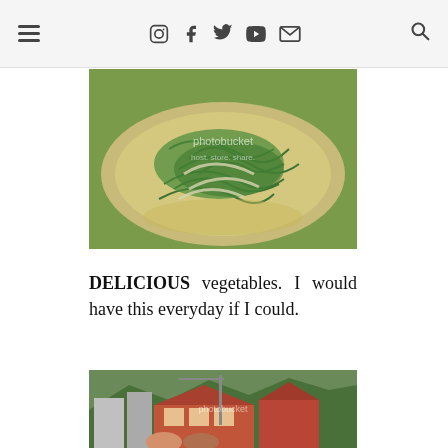≡ [instagram] [facebook] [twitter] [youtube] [mail] [search]
[Figure (photo): A white bowl containing stir-fried green vegetables (water spinach or similar) with a photobucket watermark overlay]
DELICIOUS vegetables. I would have this everyday if I could.
[Figure (photo): Two young Asian women smiling in front of a town street scene with red-roofed buildings and green mountains in background, with a photobucket watermark overlay]